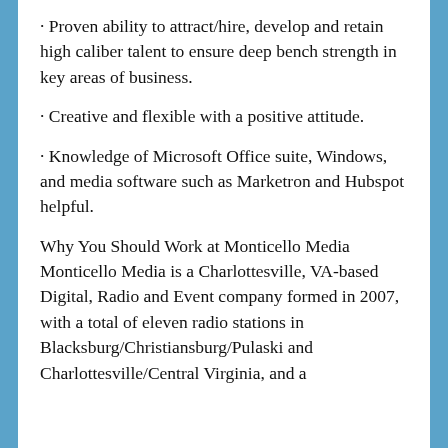· Proven ability to attract/hire, develop and retain high caliber talent to ensure deep bench strength in key areas of business.
· Creative and flexible with a positive attitude.
· Knowledge of Microsoft Office suite, Windows, and media software such as Marketron and Hubspot helpful.
Why You Should Work at Monticello Media Monticello Media is a Charlottesville, VA-based Digital, Radio and Event company formed in 2007, with a total of eleven radio stations in Blacksburg/Christiansburg/Pulaski and Charlottesville/Central Virginia, and a